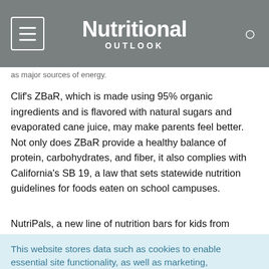Nutritional OUTLOOK
as major sources of energy.
Clif's ZBaR, which is made using 95% organic ingredients and is flavored with natural sugars and evaporated cane juice, may make parents feel better. Not only does ZBaR provide a healthy balance of protein, carbohydrates, and fiber, it also complies with California's SB 19, a law that sets statewide nutrition guidelines for foods eaten on school campuses.
NutriPals, a new line of nutrition bars for kids from Abbott Labs
This website stores data such as cookies to enable essential site functionality, as well as marketing, personalization, and analytics. Cookie Policy
Accept
Deny